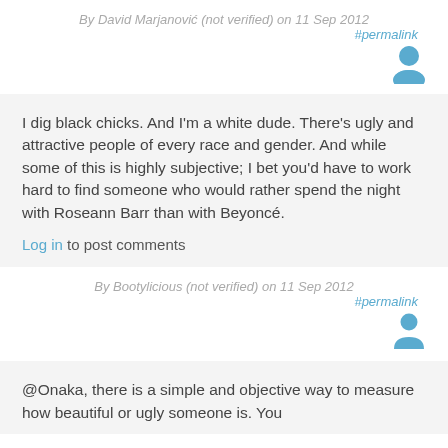By David Marjanović (not verified) on 11 Sep 2012
#permalink
[Figure (illustration): User avatar icon (blue silhouette)]
I dig black chicks. And I'm a white dude. There's ugly and attractive people of every race and gender. And while some of this is highly subjective; I bet you'd have to work hard to find someone who would rather spend the night with Roseann Barr than with Beyoncé.
Log in to post comments
By Bootylicious (not verified) on 11 Sep 2012
#permalink
[Figure (illustration): User avatar icon (blue silhouette)]
@Onaka, there is a simple and objective way to measure how beautiful or ugly someone is. You